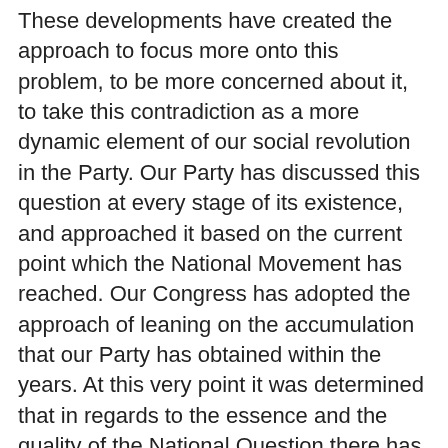These developments have created the approach to focus more onto this problem, to be more concerned about it, to take this contradiction as a more dynamic element of our social revolution in the Party. Our Party has discussed this question at every stage of its existence, and approached it based on the current point which the National Movement has reached. Our Congress has adopted the approach of leaning on the accumulation that our Party has obtained within the years. At this very point it was determined that in regards to the essence and the quality of the National Question there has not been any changes. However, it has increased its influence on the social contradiction and political processes with the increase of national consciousness and its demands, and its combative characteristics. Our Party views this question as one of the essential points of the struggle for revolution. Our Congress is determined to act by bringing forward the political contradictory character of the problem and by embracing the existing line to turn it into a political power. Our Party